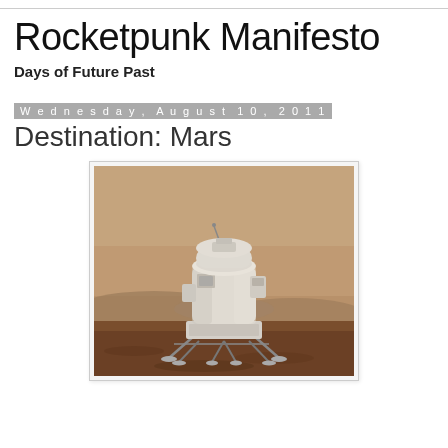Rocketpunk Manifesto
Days of Future Past
Wednesday, August 10, 2011
Destination: Mars
[Figure (photo): A concept illustration of a Mars lander spacecraft on the Martian surface. The lander has a cylindrical white body module on top, with angled metal struts/legs, set against a reddish-brown Martian terrain with hills in the background and a hazy brownish sky.]